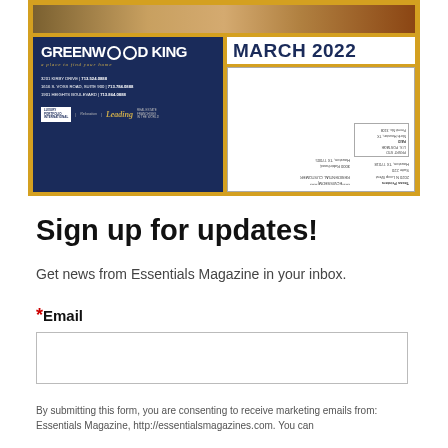[Figure (advertisement): Greenwood King real estate ad with March 2022 header and mailing address block with postage information]
Sign up for updates!
Get news from Essentials Magazine in your inbox.
*Email
By submitting this form, you are consenting to receive marketing emails from: Essentials Magazine, http://essentialsmagazines.com. You can